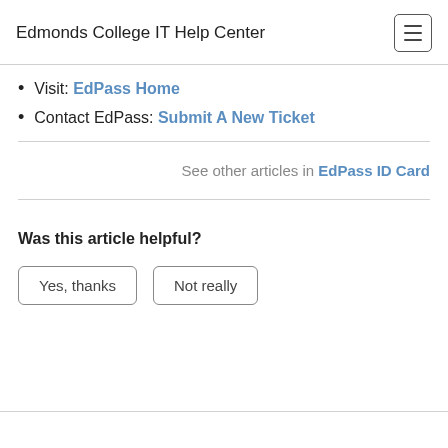Edmonds College IT Help Center
Visit: EdPass Home
Contact EdPass: Submit A New Ticket
See other articles in EdPass ID Card
Was this article helpful?
Yes, thanks   Not really